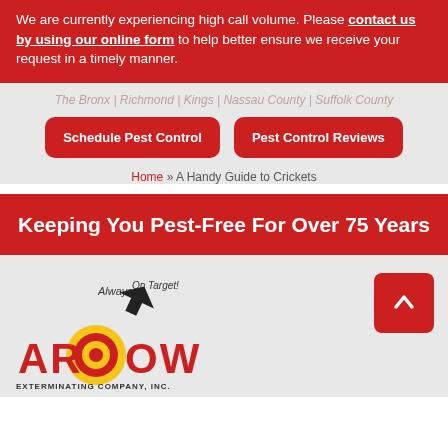We are currently experiencing high call volume. Please contact us by using our online form to help better ensure we receive your request in a timely manner.
The Bronx | Richmond | Kings | Nassau County | Suffolk County
Schedule Pest Control
Pest Control Reviews
Home » A Handy Guide to Crickets
Keeping You Pest-Free For Over 75 Years
[Figure (logo): Arrow Exterminating Company, Inc. logo with target/bullseye design and 'Always On Target!' tagline]